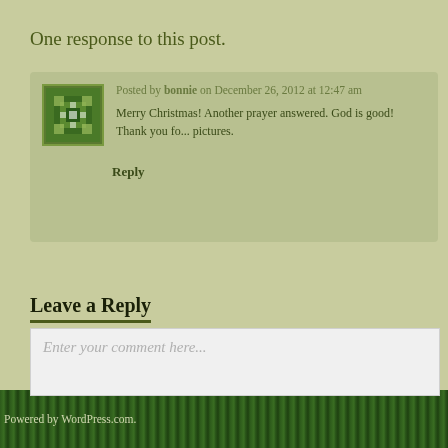One response to this post.
Posted by bonnie on December 26, 2012 at 12:47 am
Merry Christmas! Another prayer answered. God is good! Thank you fo... pictures.
Reply
Leave a Reply
Enter your comment here...
Powered by WordPress.com.